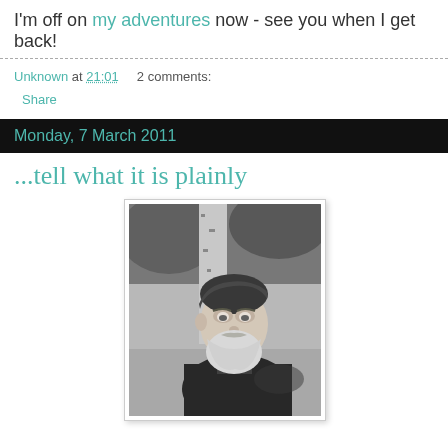I'm off on my adventures now - see you when I get back!
Unknown at 21:01    2 comments:
Share
Monday, 7 March 2011
...tell what it is plainly
[Figure (photo): Black and white photograph of a bearded older man leaning against a birch tree, wearing a dark jacket]